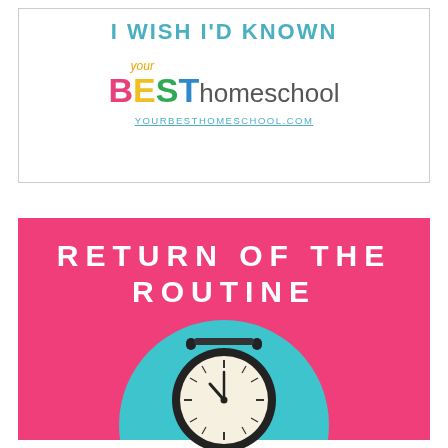I WISH I'D KNOWN
[Figure (logo): Your Best Homeschool logo with colorful letters B E S T and URL YOURBESTHOMESCHOOL.COM]
[Figure (infographic): Pink card reading RETURN OF THE ROUTINE with a teal semicircle and alarm clock image]